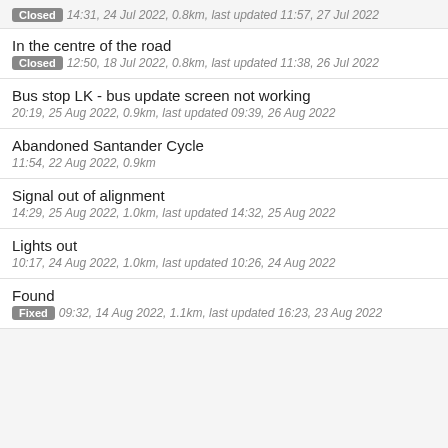Closed 14:31, 24 Jul 2022, 0.8km, last updated 11:57, 27 Jul 2022
In the centre of the road
Closed 12:50, 18 Jul 2022, 0.8km, last updated 11:38, 26 Jul 2022
Bus stop LK - bus update screen not working
20:19, 25 Aug 2022, 0.9km, last updated 09:39, 26 Aug 2022
Abandoned Santander Cycle
11:54, 22 Aug 2022, 0.9km
Signal out of alignment
14:29, 25 Aug 2022, 1.0km, last updated 14:32, 25 Aug 2022
Lights out
10:17, 24 Aug 2022, 1.0km, last updated 10:26, 24 Aug 2022
Found
Fixed 09:32, 14 Aug 2022, 1.1km, last updated 16:23, 23 Aug 2022